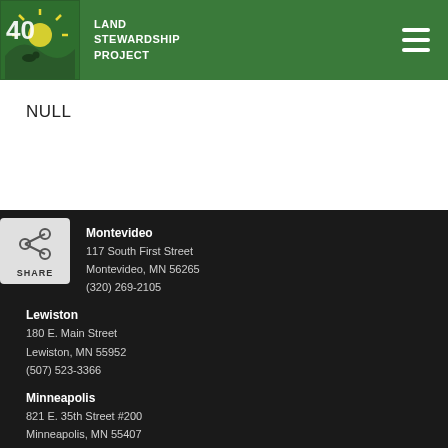Land Stewardship Project
NULL
Montevideo
117 South First Street
Montevideo, MN 56265
(320) 269-2105
Lewiston
180 E. Main Street
Lewiston, MN 55952
(507) 523-3366
Minneapolis
821 E. 35th Street #200
Minneapolis, MN 55407
(612) 722-6377